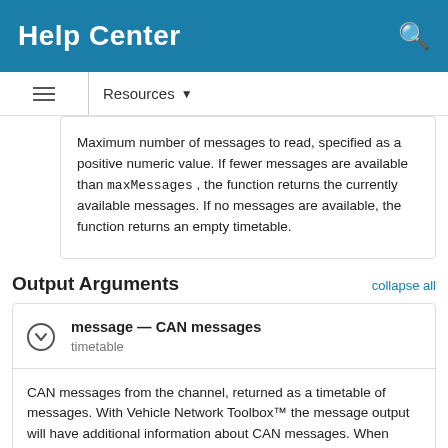Help Center
Resources
Maximum number of messages to read, specified as a positive numeric value. If fewer messages are available than maxMessages , the function returns the currently available messages. If no messages are available, the function returns an empty timetable.
Output Arguments
collapse all
message — CAN messages
timetable
CAN messages from the channel, returned as a timetable of messages. With Vehicle Network Toolbox™ the message output will have additional information about CAN messages. When database property is used, the Name and Signals information of messages will also be filled.